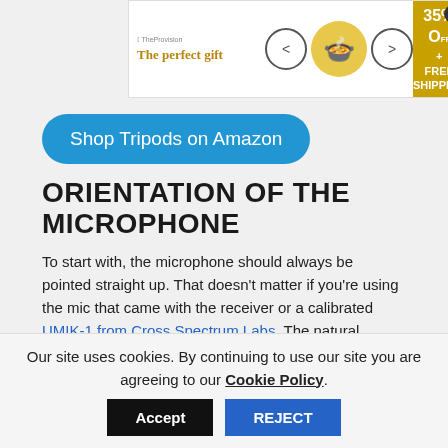[Figure (other): Advertisement banner: 'The perfect gift' with food bowl image, navigation arrows, and '35% OFF + FREE SHIPPING' offer. Close button (×) in top right corner.]
[Figure (other): Blue rounded rectangle button labeled 'Shop Tripods on Amazon']
ORIENTATION OF THE MICROPHONE
To start with, the microphone should always be pointed straight up. That doesn't matter if you're using the mic that came with the receiver or a calibrated UMIK-1 from Cross Spectrum Labs. The natural inclination is to point the mic at the speaker being tested. While that might seem logical, the vertical orientation is correct. Audyssey or your specific room correction program will take multiple measurements in quick succession. The mic can't be switched between measurements. The
Our site uses cookies. By continuing to use our site you are agreeing to our Cookie Policy.
Accept   REJECT